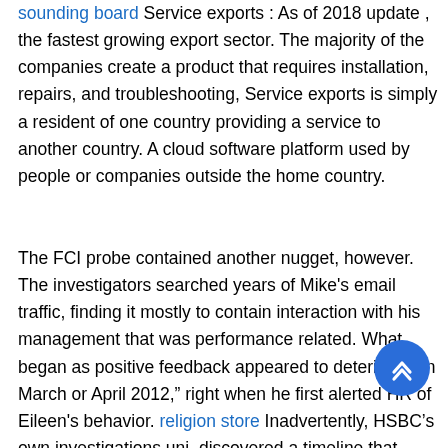sounding board Service exports : As of 2018 update , the fastest growing export sector. The majority of the companies create a product that requires installation, repairs, and troubleshooting, Service exports is simply a resident of one country providing a service to another country. A cloud software platform used by people or companies outside the home country.
The FCI probe contained another nugget, however. The investigators searched years of Mike's email traffic, finding it mostly to contain interaction with his management that was performance related. What began as positive feedback appeared to deteriorate in March or April 2012," right when he first alerted HR of Eileen's behavior. religion store Inadvertently, HSBC's own investigations unit discovered a timeline that seemed to corroborate Mike's version of events. We later concluded that TITd...